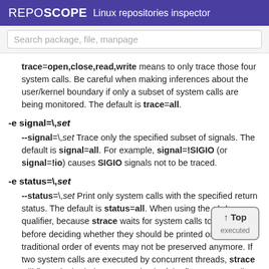REPOSCOPE  Linux repositories inspector
Search package, file, manpage
trace=open,close,read,write means to only trace those four system calls. Be careful when making inferences about the user/kernel boundary if only a subset of system calls are being monitored. The default is trace=all.
-e signal=\,set
--signal=\,set Trace only the specified subset of signals. The default is signal=all. For example, signal=!SIGIO (or signal=!io) causes SIGIO signals not to be traced.
-e status=\,set
--status=\,set Print only system calls with the specified return status. The default is status=all. When using the status qualifier, because strace waits for system calls to return before deciding whether they should be printed or not, the traditional order of events may not be preserved anymore. If two system calls are executed by concurrent threads, strace will first print both the entry and exit of the first system call to exit, regardless of the interruption order. The entry and exit of the